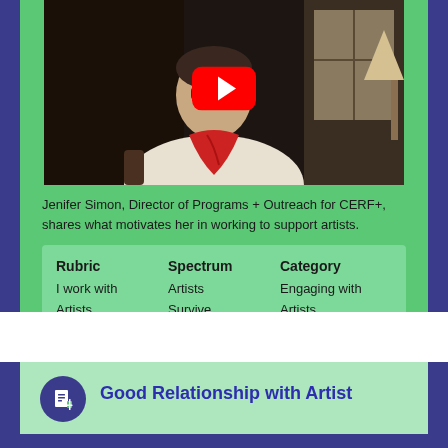[Figure (screenshot): YouTube video thumbnail showing a person with glasses and a red scarf seated indoors, with a YouTube play button overlay in the center.]
Jenifer Simon, Director of Programs + Outreach for CERF+, shares what motivates her in working to support artists.
| Rubric | Spectrum | Category |
| --- | --- | --- |
| I work with Artists | Artists Survive | Engaging with Artists |
Good Relationship with Artist